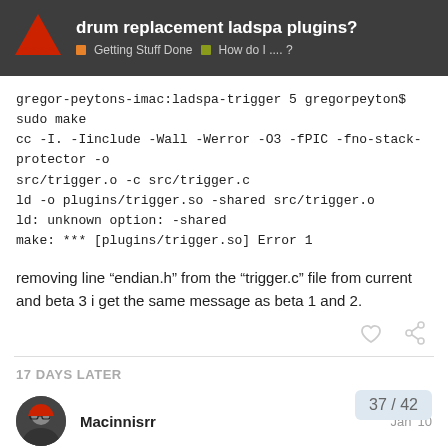drum replacement ladspa plugins? | Getting Stuff Done | How do I .... ?
gregor-peytons-imac:ladspa-trigger 5 gregorpeyton$ sudo make
cc -I. -Iinclude -Wall -Werror -O3 -fPIC -fno-stack-protector -o src/trigger.o -c src/trigger.c
ld -o plugins/trigger.so -shared src/trigger.o
ld: unknown option: -shared
make: *** [plugins/trigger.so] Error 1
removing line “endian.h” from the “trigger.c” file from current and beta 3 i get the same message as beta 1 and 2.
17 DAYS LATER
Macinnisrr
Jan '10
there's a binary package for ubuntu of this